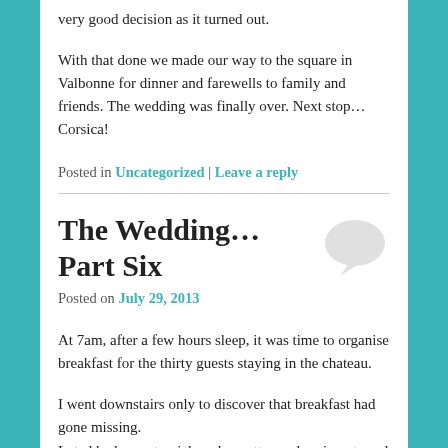very good decision as it turned out.
With that done we made our way to the square in Valbonne for dinner and farewells to family and friends. The wedding was finally over. Next stop… Corsica!
Posted in Uncategorized | Leave a reply
The Wedding… Part Six
Posted on July 29, 2013
At 7am, after a few hours sleep, it was time to organise breakfast for the thirty guests staying in the chateau.
I went downstairs only to discover that breakfast had gone missing.
Letad had gone to pick up baguettes and croissants and when he returned, we set off in the ailing Mini to